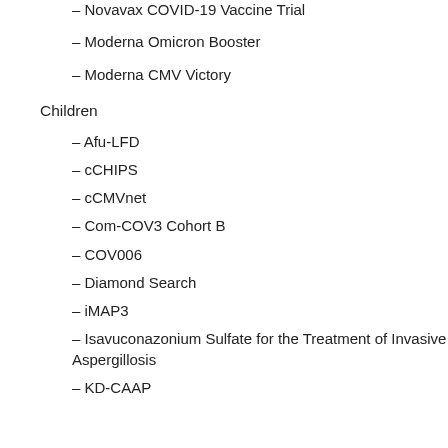– Novavax COVID-19 Vaccine Trial
– Moderna Omicron Booster
– Moderna CMV Victory
Children
– Afu-LFD
– cCHIPS
– cCMVnet
– Com-COV3 Cohort B
– COV006
– Diamond Search
– iMAP3
– Isavuconazonium Sulfate for the Treatment of Invasive Aspergillosis
– KD-CAAP